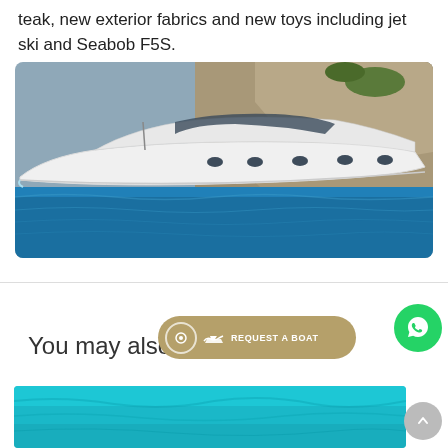teak, new exterior fabrics and new toys including jet ski and Seabob F5S.
[Figure (photo): A white luxury motorboat/yacht sailing in blue sea water near rocky cliffs]
[Figure (infographic): UI overlay showing a 'REQUEST A BOAT' button in gold/brown pill shape with boat icon, a green WhatsApp circular button, a gray scroll-to-top circular button, and a 'You may also like' heading. Partial bottom image showing turquoise water from aerial view.]